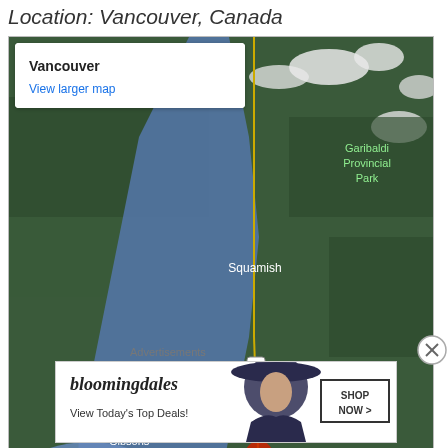Location: Vancouver, Canada
[Figure (map): Google Maps satellite view showing Vancouver, Canada and surrounding area including Squamish, Gibsons, Surrey, Richmond, Langley, Abbotsford, Garibaldi Provincial Park. A red location pin marks Vancouver. A white maple leaf icon is visible in the water to the west. Route 99 and Route 7 and Route 5 are labeled. An info popup shows 'Vancouver' and 'View larger map' link.]
Advertisements
[Figure (other): Bloomingdale's advertisement banner reading 'bloomingdales View Today's Top Deals!' with a woman in a hat and 'SHOP NOW >' button.]